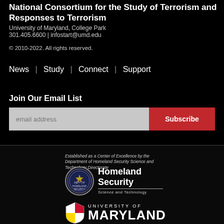National Consortium for the Study of Terrorism and Responses to Terrorism
University of Maryland, College Park
301.405.6600 | infostart@umd.edu
© 2010-2022. All rights reserved.
News | Study | Connect | Support
Join Our Email List
email address [Subscribe]
Established as a Center of Excellence by the Department of Homeland Security Science and Technology Directorate
[Figure (logo): Homeland Security Science and Technology logo with DHS seal]
[Figure (logo): University of Maryland logo with shield and wordmark]